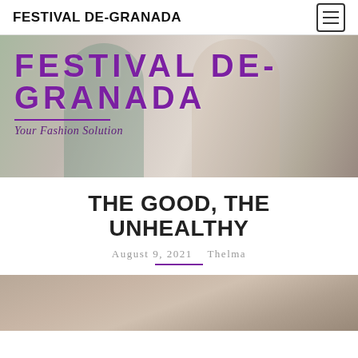FESTIVAL DE-GRANADA
[Figure (photo): Two Asian women in casual fashion looking at a phone, outdoor setting. Overlaid with large purple bold text 'FESTIVAL DE-GRANADA' and italic subtitle 'Your Fashion Solution']
THE GOOD, THE UNHEALTHY
August 9, 2021   Thelma